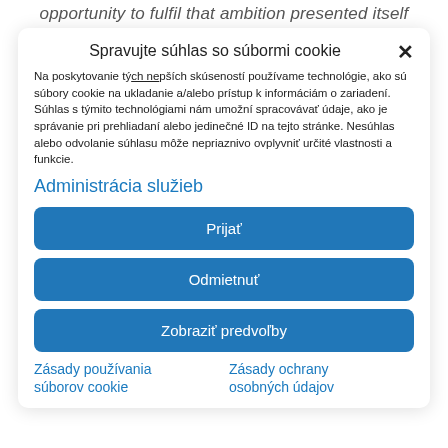opportunity to fulfil that ambition presented itself
Spravujte súhlas so súbormi cookie
Na poskytovanie tých najlepších skúseností používame technológie, ako sú súbory cookie na ukladanie a/alebo prístup k informáciám o zariadení. Súhlas s týmito technológiami nám umožní spracovávať údaje, ako je správanie pri prehliadaní alebo jedinečné ID na tejto stránke. Nesúhlas alebo odvolanie súhlasu môže nepriaznivo ovplyvniť určité vlastnosti a funkcie.
Administrácia služieb
Prijať
Odmietnuť
Zobraziť predvoľby
Zásady používania súborov cookie
Zásady ochrany osobných údajov